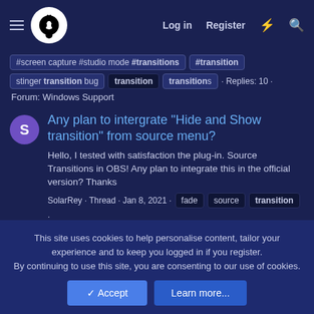Log in | Register
#screen capture #studio mode #transitions #transition stinger transition bug  transition  transitions · Replies: 10 · Forum: Windows Support
Any plan to intergrate "Hide and Show transition" from source menu?
Hello, I tested with satisfaction the plug-in. Source Transitions in OBS! Any plan to integrate this in the official version? Thanks
SolarRey · Thread · Jan 8, 2021 · fade  source  transition ·
This site uses cookies to help personalise content, tailor your experience and to keep you logged in if you register.
By continuing to use this site, you are consenting to our use of cookies.